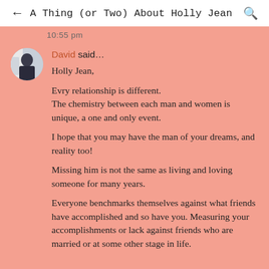← A Thing (or Two) About Holly Jean 🔍
10:55 pm
David said… Holly Jean,

Evry relationship is different.
The chemistry between each man and women is unique, a one and only event.

I hope that you may have the man of your dreams, and reality too!

Missing him is not the same as living and loving someone for many years.

Everyone benchmarks themselves against what friends have accomplished and so have you. Measuring your accomplishments or lack against friends who are married or at some other stage in life.